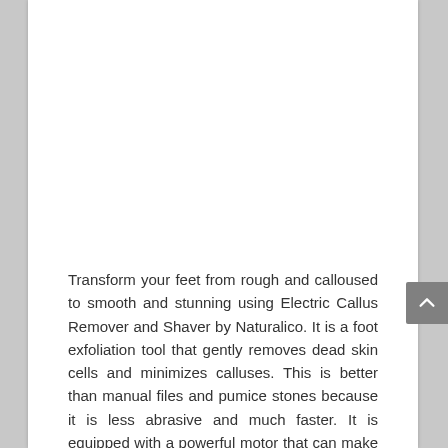Transform your feet from rough and calloused to smooth and stunning using Electric Callus Remover and Shaver by Naturalico. It is a foot exfoliation tool that gently removes dead skin cells and minimizes calluses. This is better than manual files and pumice stones because it is less abrasive and much faster. It is equipped with a powerful motor that can make the foot file spin a full 360 degrees at a speed of 40 turns per